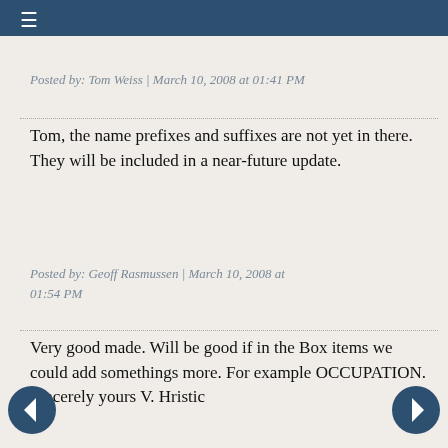≡
Posted by: Tom Weiss | March 10, 2008 at 01:41 PM
Tom, the name prefixes and suffixes are not yet in there. They will be included in a near-future update.
Posted by: Geoff Rasmussen | March 10, 2008 at 01:54 PM
Very good made. Will be good if in the Box items we could add somethings more. For example OCCUPATION. Sincerely yours V. Hristic
Posted by: Vitomir Hristic | March 10, 2008 at